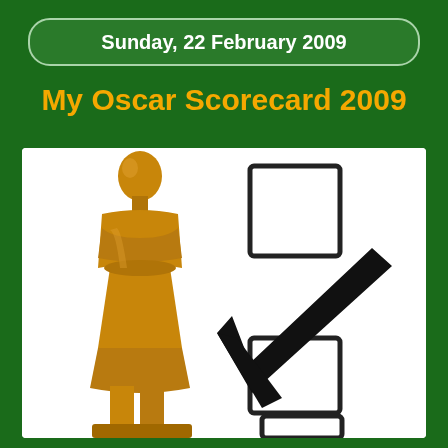Sunday, 22 February 2009
My Oscar Scorecard 2009
[Figure (illustration): Oscar statuette (gold figurine) on the left, with checkboxes on the right — one empty checkbox at top, one large black checkmark in a checkbox in the middle, and a partial empty checkbox at the bottom.]